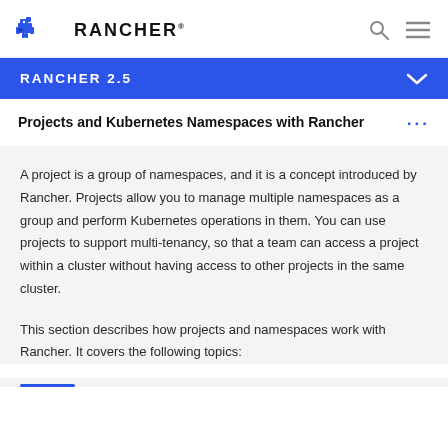RANCHER
RANCHER 2.5
Projects and Kubernetes Namespaces with Rancher
A project is a group of namespaces, and it is a concept introduced by Rancher. Projects allow you to manage multiple namespaces as a group and perform Kubernetes operations in them. You can use projects to support multi-tenancy, so that a team can access a project within a cluster without having access to other projects in the same cluster.
This section describes how projects and namespaces work with Rancher. It covers the following topics: